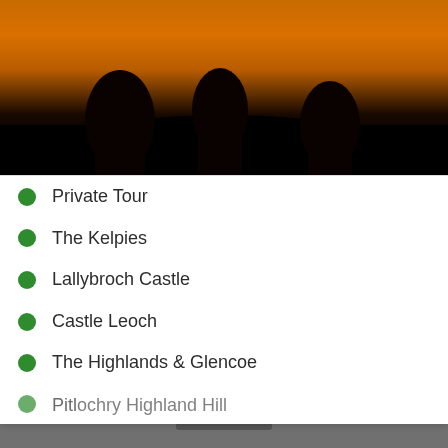[Figure (photo): Dark silhouette image with orange/amber background, showing shadowy figures against a warm sunset or fire-lit sky]
Private Tour
The Kelpies
Lallybroch Castle
Castle Leoch
The Highlands & Glencoe
Pitlochry Highland Hill (partially visible)
We use cookies to ensure that we give you the best experience on our website. If you continue to use this site we will assume that you are happy with this.
Ok